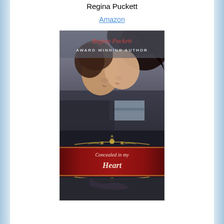Regina Puckett
Amazon
[Figure (illustration): Book cover for 'Concealed in my Heart' by Regina Puckett, showing two people about to kiss with a dark romantic background. The cover has a red banner with the title 'Concealed in my Heart' in white script, and text at the top reading 'Regina Puckett Award Winning Author'.]